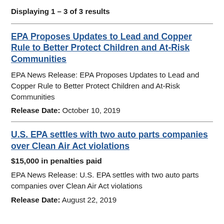Displaying 1 – 3 of 3 results
EPA Proposes Updates to Lead and Copper Rule to Better Protect Children and At-Risk Communities
EPA News Release: EPA Proposes Updates to Lead and Copper Rule to Better Protect Children and At-Risk Communities
Release Date: October 10, 2019
U.S. EPA settles with two auto parts companies over Clean Air Act violations
$15,000 in penalties paid
EPA News Release: U.S. EPA settles with two auto parts companies over Clean Air Act violations
Release Date: August 22, 2019